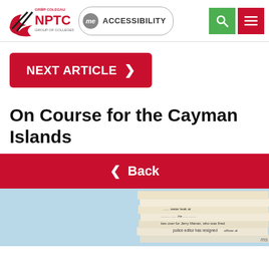NPTC Group of Colleges - GRŴP COLEGAU
NEXT ARTICLE >
On Course for the Cayman Islands
< Back
[Figure (photo): Stack of newspapers on a light blue background]